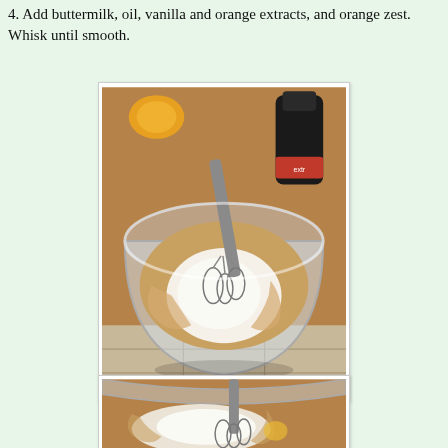4. Add buttermilk, oil, vanilla and orange extracts, and orange zest. Whisk until smooth.
[Figure (photo): A glass mixing bowl viewed from above containing a white liquid (buttermilk) with a metal whisk resting in it. Brown mixing ingredients visible around the edges inside the bowl. A dark bottle with a red cap (vanilla extract) is visible in the upper right corner. The bowl sits on a tiled surface.]
[Figure (photo): Close-up of a glass mixing bowl with a whisk mixing white liquid with other wet ingredients, showing the batter being whisked together.]